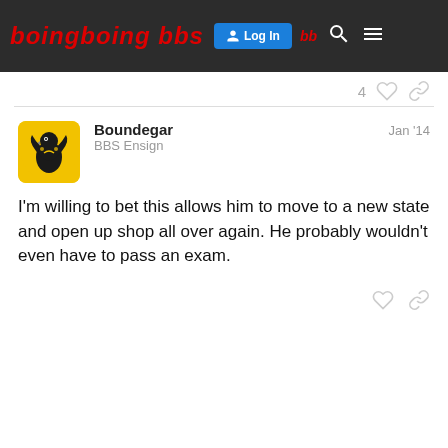boing boing bbs — Log In
4 ♡ 🔗
Boundegar  BBS Ensign  Jan '14
I'm willing to bet this allows him to move to a new state and open up shop all over again. He probably wouldn't even have to pass an exam.